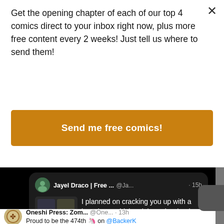Get the opening chapter of each of our top 4 comics direct to your inbox right now, plus more free content every 2 weeks! Just tell us where to send them!
[Figure (other): Orange button labeled 'Send me free comics!']
[Figure (screenshot): Screenshot of a dark-themed social media feed showing a tweet from 'Jayel Draco | Free ...' (@Ja...) posted 15h ago with text: 'I planned on cracking you up with a brand new chicken joke today, but it eggspired before I could get to it [sad emoji]' and a thumbnail image. Below is a partial tweet from 'Oneshi Press: Zom...' (@One...) posted 13h ago: 'Proud to be the 474th [unicorn emoji] on @BackkerK for Bi Visibility: A Bisexual Anthology "Still Bi...' with a circular logo avatar.]